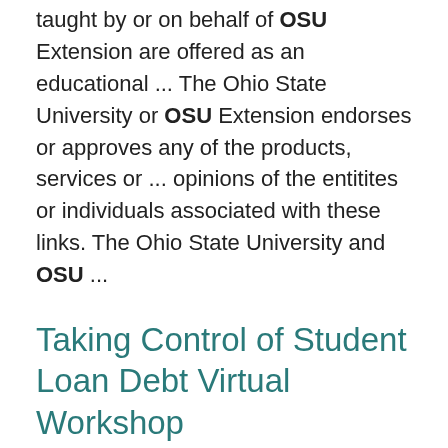taught by or on behalf of OSU Extension are offered as an educational ... The Ohio State University or OSU Extension endorses or approves any of the products, services or ... opinions of the entitites or individuals associated with these links. The Ohio State University and OSU ...
Taking Control of Student Loan Debt Virtual Workshop
https://franklin.osu.edu/events/taking-control-student-loan-debt-virtual-workshop-27
meeting. Student loan debt workshops taught by or on behalf of OSU Extension are offered as an educational ... The Ohio